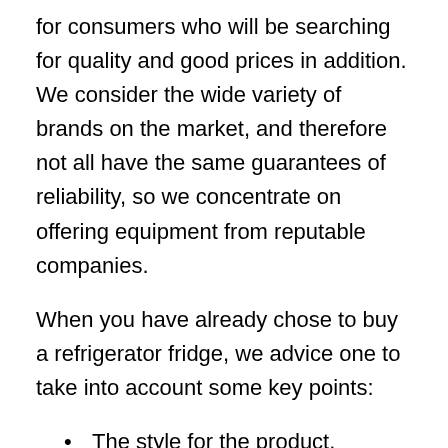for consumers who will be searching for quality and good prices in addition. We consider the wide variety of brands on the market, and therefore not all have the same guarantees of reliability, so we concentrate on offering equipment from reputable companies.
When you have already chose to buy a refrigerator fridge, we advice one to take into account some key points:
The style for the product. Choose a product that can be adapted to your shape and decoration of your kitchen.